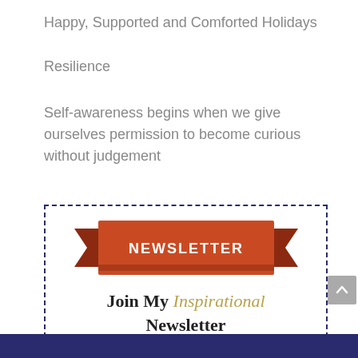Happy, Supported and Comforted Holidays
Resilience
Self-awareness begins when we give ourselves permission to become curious without judgement
[Figure (infographic): Newsletter signup box with dashed border, red ribbon banner saying NEWSLETTER, bold text 'Join My Inspirational Newsletter', subscribe text, and GoDaddy verified badge]
Subscribe to receive Sue's Inspirational Newsletters & FREE Resources.